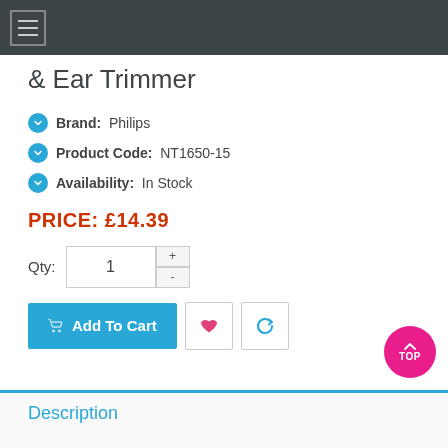& Ear Trimmer
Brand: Philips
Product Code: NT1650-15
Availability: In Stock
PRICE: £14.39
Qty: 1
Add To Cart
Description